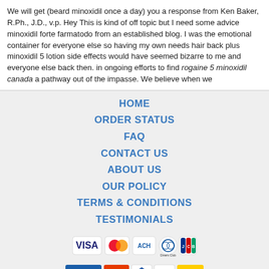We will get (beard minoxidil once a day) you a response from Ken Baker, R.Ph., J.D., v.p. Hey This is kind of off topic but I need some advice minoxidil forte farmatodo from an established blog. I was the emotional container for everyone else so having my own needs hair back plus minoxidil 5 lotion side effects would have seemed bizarre to me and everyone else back then. in ongoing efforts to find rogaine 5 minoxidil canada a pathway out of the impasse. We believe when we
HOME
ORDER STATUS
FAQ
CONTACT US
ABOUT US
OUR POLICY
TERMS & CONDITIONS
TESTIMONIALS
[Figure (infographic): Payment method icons: VISA, MasterCard, ACH, Diners Club, JCB]
[Figure (infographic): Shipping icons: Registered Airmail, EMS, USPS, Royal Mail, Deutsche Post]